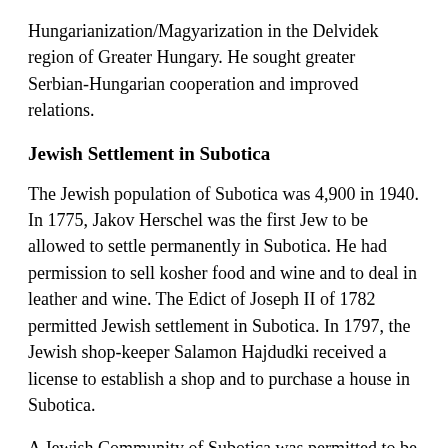Hungarianization/Magyarization in the Delvidek region of Greater Hungary. He sought greater Serbian-Hungarian cooperation and improved relations.
Jewish Settlement in Subotica
The Jewish population of Subotica was 4,900 in 1940. In 1775, Jakov Herschel was the first Jew to be allowed to settle permanently in Subotica. He had permission to sell kosher food and wine and to deal in leather and wine. The Edict of Joseph II of 1782 permitted Jewish settlement in Subotica. In 1797, the Jewish shop-keeper Salamon Hajdudki received a license to establish a shop and to purchase a house in Subotica.
A Jewish Community of Subotica was permitted to be established. In 1799, construction of an Orthodox synagogue was begun after permission was obtained. In 1817 the Subotica synagogue was completed. The Neologue or